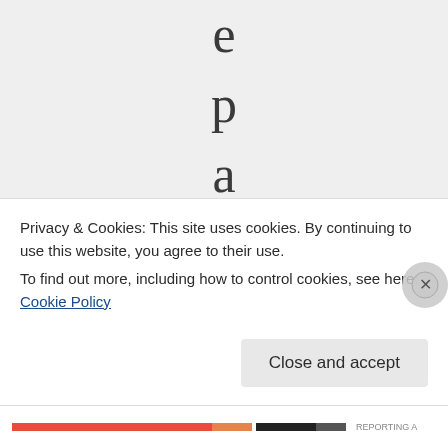e p a i d t o t e l l
Privacy & Cookies: This site uses cookies. By continuing to use this website, you agree to their use.
To find out more, including how to control cookies, see here: Cookie Policy
Close and accept